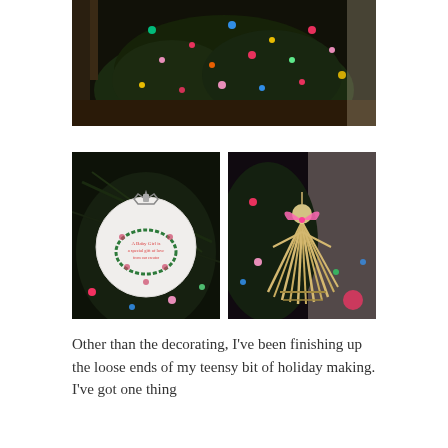[Figure (photo): Christmas tree with colorful lights (red, pink, blue, green, yellow) and ornaments, dark background, indoor staircase railing visible]
[Figure (photo): Close-up of a white glass Christmas ball ornament with a crown design and text reading 'A Baby Girl is a special gift of love' hanging on a Christmas tree with pink lights]
[Figure (photo): Straw/reed angel ornament with pink ribbon bow hanging on a Christmas tree with pink and blue lights]
Other than the decorating, I've been finishing up the loose ends of my teensy bit of holiday making. I've got one thing